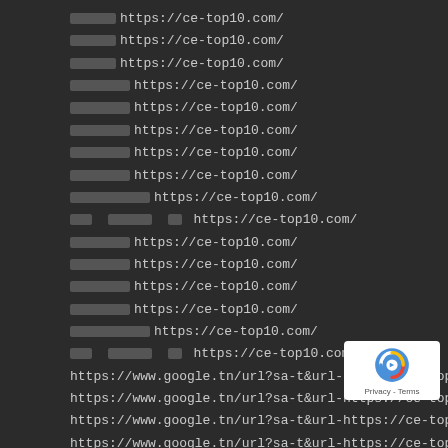██████ https://ce-top10.com/
██████ https://ce-top10.com/
██████ https://ce-top10.com/
████████ https://ce-top10.com/
████████ https://ce-top10.com/
████████ https://ce-top10.com/
████████ https://ce-top10.com/
████████ https://ce-top10.com/
███████████ https://ce-top10.com/
███ ██████ ██ https://ce-top10.com/
████████ https://ce-top10.com/
████████ https://ce-top10.com/
████████ https://ce-top10.com/
████████ https://ce-top10.com/
███████████ https://ce-top10.com/
███ ██████ ██ https://ce-top10.com/
https://www.google.tn/url?sa-t&url-https://ce-top10.com/
https://www.google.tn/url?sa-t&url-https://ce-top10.com/
https://www.google.tn/url?sa-t&url-https://ce-top10.com/
https://www.google.tn/url?sa-t&url-https://ce-top10.com/
https://www.google.tn/url?sa-t&url-https://ce-top10.com/
https://www.google.tn/url?sa-t&url-https://ce-top10.com/
https://www.google.tn/url?sa-t&url-https://ce-top10.com/
https://www.google.tn/url?sa-t&url-https://ce-top10.com/